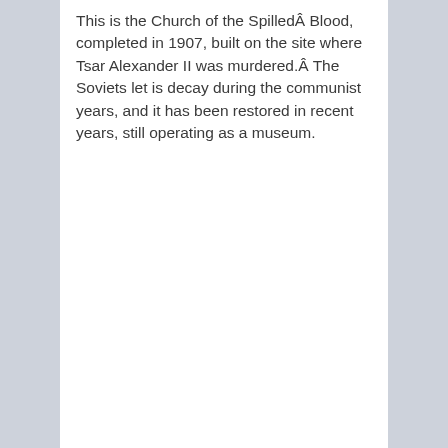This is the Church of the SpilledÂ Blood, completed in 1907, built on the site where Tsar Alexander II was murdered.Â The Soviets let is decay during the communist years, and it has been restored in recent years, still operating as a museum.